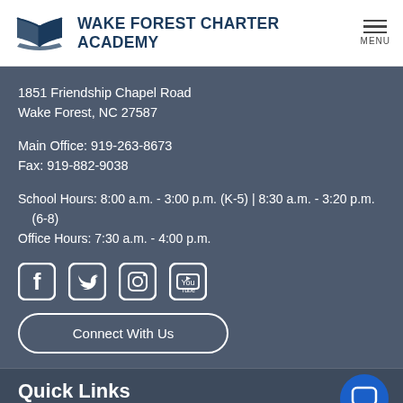WAKE FOREST CHARTER ACADEMY
1851 Friendship Chapel Road
Wake Forest, NC 27587
Main Office: 919-263-8673
Fax: 919-882-9038
School Hours: 8:00 a.m. - 3:00 p.m. (K-5) | 8:30 a.m. - 3:20 p.m. (6-8)
Office Hours: 7:30 a.m. - 4:00 p.m.
[Figure (infographic): Social media icons: Facebook, Twitter, Instagram, YouTube]
Connect With Us
Quick Links
Blog